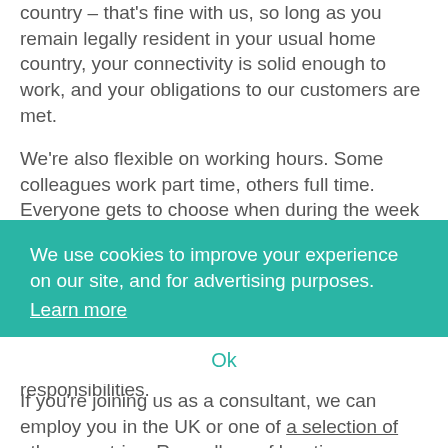country – that's fine with us, so long as you remain legally resident in your usual home country, your connectivity is solid enough to work, and your obligations to our customers are met.
We're also flexible on working hours. Some colleagues work part time, others full time. Everyone gets to choose when during the week (and during the day) they work their hours, and we take this into account when we schedule client work. We find this arrangement works particularly well for our colleagues who are parents or other caregivers, as it allows them to plan their work day around those other responsibilities.
We use cookies to improve your experience on our site, and for advertising purposes.
Learn more
Ok
If you're joining us as a consultant, we can employ you in the UK or one of a selection of other countries. Regardless of location, your flexible